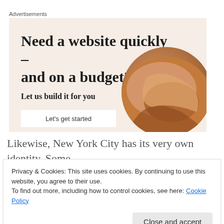Advertisements
[Figure (infographic): Advertisement banner with beige background. Large serif headline: 'Need a website quickly – and on a budget?' Subtitle: 'Let us build it for you'. Button: 'Let's get started'. Decorative bread/croissant circle image on the right.]
Likewise, New York City has its very own identity. Some
see it as exciting and others see it as cold-hearted
Privacy & Cookies: This site uses cookies. By continuing to use this website, you agree to their use.
To find out more, including how to control cookies, see here: Cookie Policy
Close and accept
heartless.